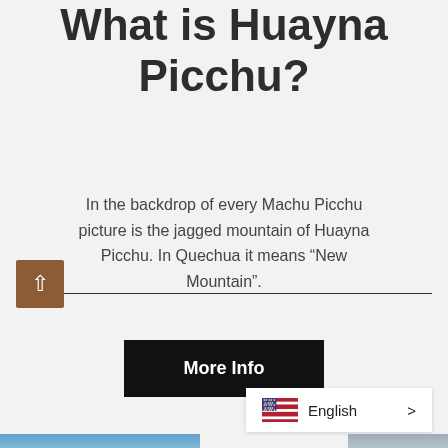What is Huayna Picchu?
In the backdrop of every Machu Picchu picture is the jagged mountain of Huayna Picchu. In Quechua it means “New Mountain”.
More Info
[Figure (other): Back-to-top button (brown square with upward chevron arrow) and a horizontal divider line]
[Figure (other): Language selector bar showing US flag, 'English' label, and a right-pointing chevron arrow. Partial photo strip at the bottom edge showing a mountain scene.]